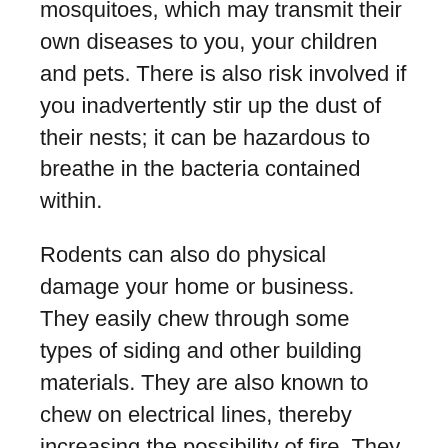mosquitoes, which may transmit their own diseases to you, your children and pets. There is also risk involved if you inadvertently stir up the dust of their nests; it can be hazardous to breathe in the bacteria contained within.
Rodents can also do physical damage your home or business. They easily chew through some types of siding and other building materials. They are also known to chew on electrical lines, thereby increasing the possibility of fire. They damage other materials as well, creating holes and gnawing on numerous objects, especially food or food containers.
Removing rodents can be difficult. A